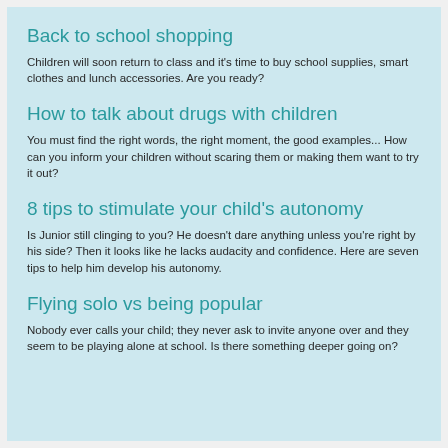Back to school shopping
Children will soon return to class and it's time to buy school supplies, smart clothes and lunch accessories. Are you ready?
How to talk about drugs with children
You must find the right words, the right moment, the good examples... How can you inform your children without scaring them or making them want to try it out?
8 tips to stimulate your child's autonomy
Is Junior still clinging to you? He doesn't dare anything unless you're right by his side? Then it looks like he lacks audacity and confidence. Here are seven tips to help him develop his autonomy.
Flying solo vs being popular
Nobody ever calls your child; they never ask to invite anyone over and they seem to be playing alone at school. Is there something deeper going on?